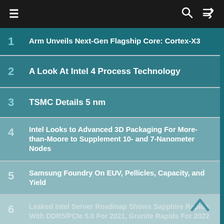Navigation bar with menu, search, and shuffle icons
1 Arm Unveils Next-Gen Flagship Core: Cortex-X3
2 A Look At Intel 4 Process Technology
3 TSMC Details 5 nm
4 Intel Looks to Advanced 3D Packaging For More-than-Moore to Supplement 10- and 7-Nanometer Nodes
5 Samsung Foundry On EUV, Pellicles, Capacity, and Yield
6 Leaked Intel Server Roadmap Shows Sapphire Rapids With DDR5/PCIe 5.0 For 2021, Granite Rapids For 2022